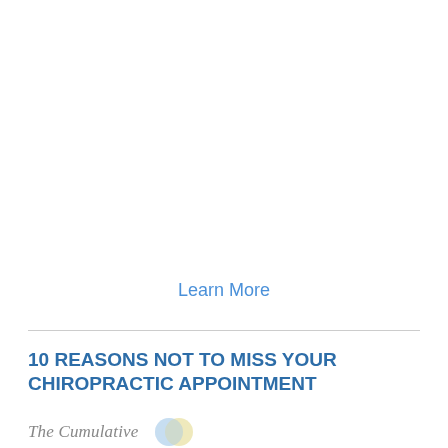Learn More
10 REASONS NOT TO MISS YOUR CHIROPRACTIC APPOINTMENT
The Cumulative